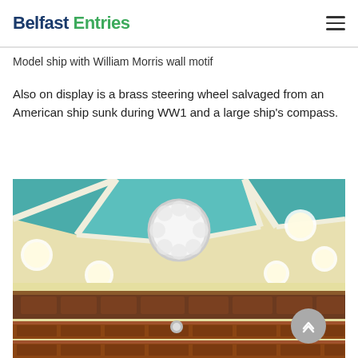Belfast Entries
Model ship with William Morris wall motif
Also on display is a brass steering wheel salvaged from an American ship sunk during WW1 and a large ship's compass.
[Figure (photo): Interior of a hall or church-like space with cream/yellow walls, teal geometric ceiling sections, circular frosted glass windows/lights, and rows of wooden pews or seating visible in the lower portion.]